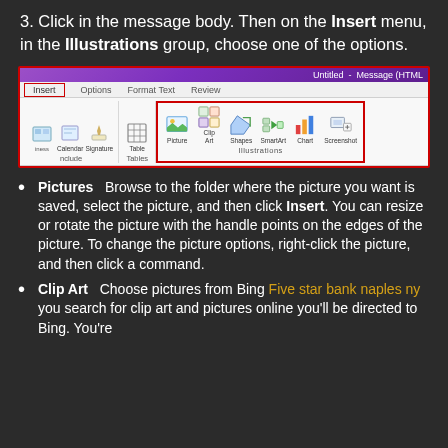3. Click in the message body. Then on the Insert menu, in the Illustrations group, choose one of the options.
[Figure (screenshot): Microsoft Outlook ribbon showing the Insert tab selected with a red border around the Illustrations group containing icons for Picture, Clip Art, Shapes, SmartArt, Chart, and Screenshot. The window title shows 'Untitled - Message (HTML'.]
Pictures   Browse to the folder where the picture you want is saved, select the picture, and then click Insert. You can resize or rotate the picture with the handle points on the edges of the picture. To change the picture options, right-click the picture, and then click a command.
Clip Art   Choose pictures from Bing Five star bank naples ny you search for clip art and pictures online you'll be directed to Bing. You're